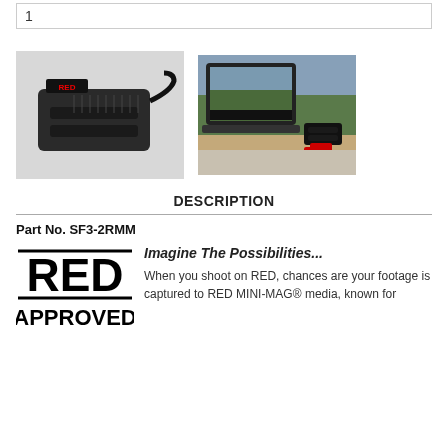1
[Figure (photo): Two product images side by side: left shows a black hardware device (RED MINI-MAG reader), right shows a laptop and device setup on a desk]
DESCRIPTION
Part No. SF3-2RMM
[Figure (logo): RED APPROVED logo — large bold RED text with lines above and below, APPROVED text beneath]
Imagine The Possibilities...
When you shoot on RED, chances are your footage is captured to RED MINI-MAG® media, known for